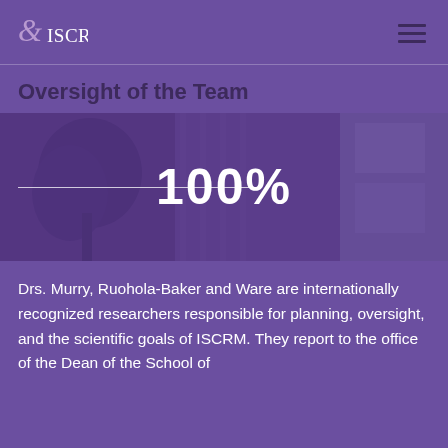ISCRM
Oversight of the Team
[Figure (photo): Building exterior with trees, overlaid with a purple tint and a large '100%' text in white, with a horizontal white progress line in the center.]
Drs. Murry, Ruohola-Baker and Ware are internationally recognized researchers responsible for planning, oversight, and the scientific goals of ISCRM. They report to the office of the Dean of the School of